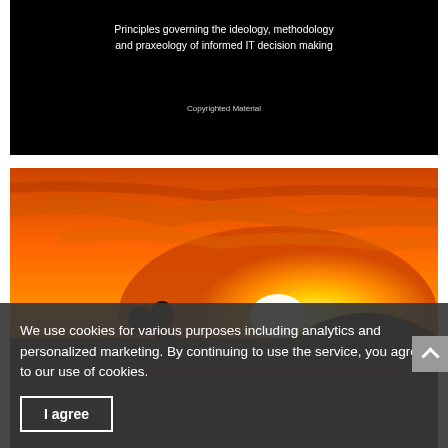[Figure (photo): Book cover with black background showing centered white text: 'Principles governing the ideology, methodology and praxeology of informed IT decision making' and 'Copyrighted Material' at the bottom center]
[Figure (photo): Sunset landscape photo with vivid orange and yellow sky, bright sun near the horizon, silhouetted buildings and rocky cliff on the left side]
We use cookies for various purposes including analytics and personalized marketing. By continuing to use the service, you agree to our use of cookies.
I agree